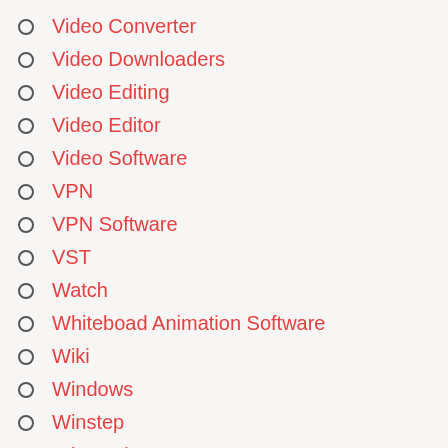Video Converter
Video Downloaders
Video Editing
Video Editor
Video Software
VPN
VPN Software
VST
Watch
Whiteboad Animation Software
Wiki
Windows
Winstep
Wintousb
Zip